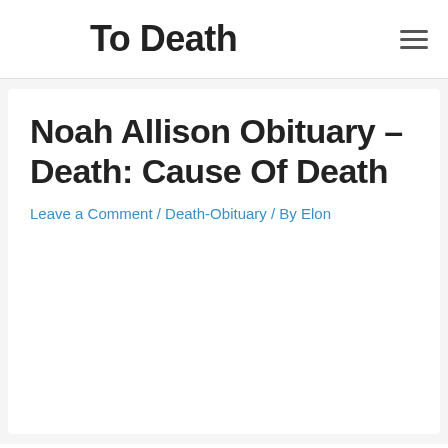To Death
Noah Allison Obituary – Death: Cause Of Death
Leave a Comment / Death-Obituary / By Elon